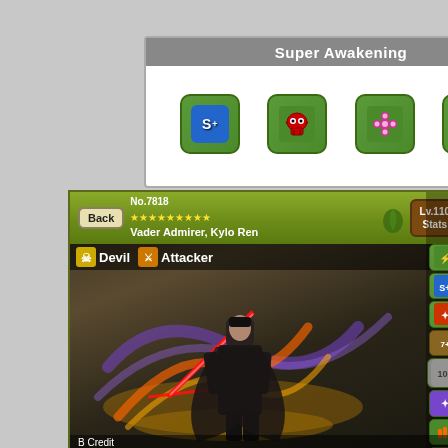Super Awakening
[Figure (screenshot): Four game skill icons in green bordered squares: S+ icon (blue), skull/crossbones icon, flower/orb icon, triple-bar icon]
[Figure (screenshot): Game character card for No.7818 Vader Admirer, Kylo Ren at Lv.110, showing character illustration with lightsabers, Devil and Attacker type icons, 9 stars, and sidebar skill icons]
No.7818 Vader Admirer, Kylo Ren
Devil Attacker
Lv.110 Stats
B Credit